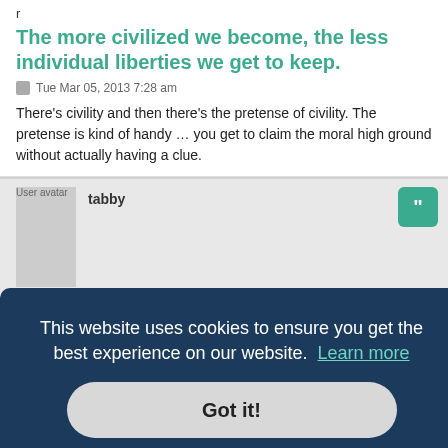r
The more civilized we become, the less individual liberties we get to keep.
Tue Mar 05, 2013 7:28 am
There's civility and then there's the pretense of civility. The pretense is kind of handy ... you get to claim the moral high ground without actually having a clue.
tabby
The more civilized we become, the less individual liberties
This website uses cookies to ensure you get the best experience on our website.  Learn more
Got it!
advances in science & technology have moved along faster than morality